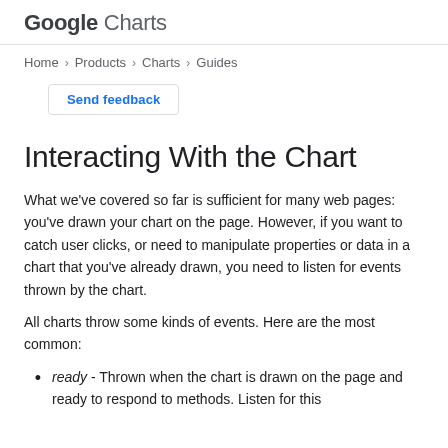Google Charts
Home > Products > Charts > Guides
Send feedback
Interacting With the Chart
What we've covered so far is sufficient for many web pages: you've drawn your chart on the page. However, if you want to catch user clicks, or need to manipulate properties or data in a chart that you've already drawn, you need to listen for events thrown by the chart.
All charts throw some kinds of events. Here are the most common:
ready - Thrown when the chart is drawn on the page and ready to respond to methods. Listen for this